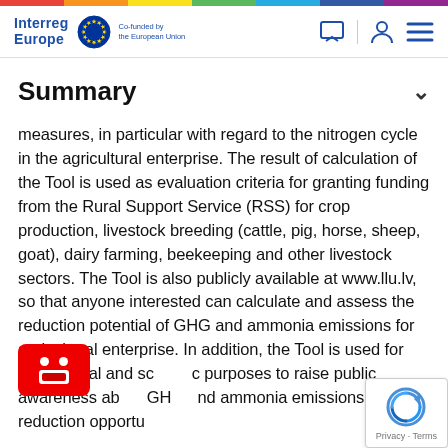Interreg Europe – Co-funded by the European Union
Summary
measures, in particular with regard to the nitrogen cycle in the agricultural enterprise. The result of calculation of the Tool is used as evaluation criteria for granting funding from the Rural Support Service (RSS) for crop production, livestock breeding (cattle, pig, horse, sheep, goat), dairy farming, beekeeping and other livestock sectors. The Tool is also publicly available at www.llu.lv, so that anyone interested can calculate and assess the reduction potential of GHG and ammonia emissions for agricultural enterprise. In addition, the Tool is used for educational and scientific purposes to raise public awareness about GHG and ammonia emissions reduction opportu…